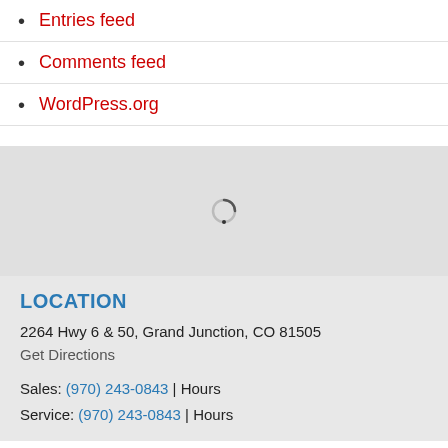Entries feed
Comments feed
WordPress.org
[Figure (map): Embedded map loading spinner on gray background]
LOCATION
2264 Hwy 6 & 50, Grand Junction, CO 81505
Get Directions
Sales: (970) 243-0843 | Hours
Service: (970) 243-0843 | Hours